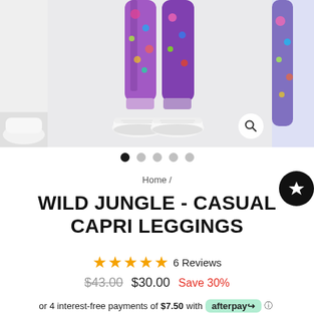[Figure (photo): Product image carousel showing colorful floral/jungle print capri leggings with white sneakers. Three panels visible: left partial image, center main image showing lower legs and shoes, right partial image.]
Home /
WILD JUNGLE - CASUAL CAPRI LEGGINGS
★★★★★ 6 Reviews
$43.00  $30.00  Save 30%
or 4 interest-free payments of $7.50 with afterpay◌